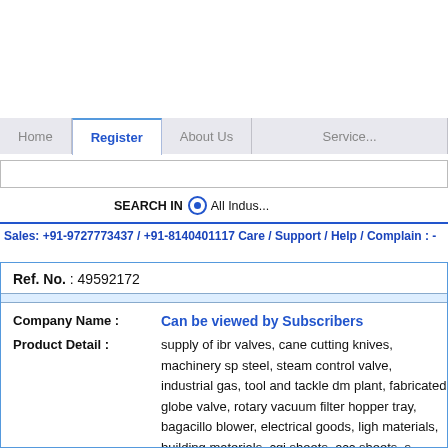Home | Register | About Us | Service
SEARCH IN  All Industries
Sales: +91-9727773437 / +91-8140401117 Care / Support / Help / Complain : -
Ref. No. : 49592172
Company Name : Can be viewed by Subscribers
Product Detail : supply of ibr valves, cane cutting knives, machinery sp steel, steam control valve, industrial gas, tool and tackle dm plant, fabricated globe valve, rotary vacuum filter hopper tray, bagacillo blower, electrical goods, ligh materials, building materials, cgi sheets, acc sheets, s pulley, ms seed elevator bucket, chain pulley, pin bush pulley, vacuum pump, el pump, os pump, impeller,